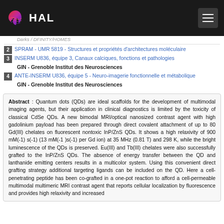[Figure (logo): HAL open archive logo with hamburger menu on dark background header bar]
2 SPRAM - UMR 5819 - Structures et propriétés d'architectures moléculaire
3 INSERM U836, équipe 3, Canaux calciques, fonctions et pathologies
GIN - Grenoble Institut des Neurosciences
4 ANTE-INSERM U836, équipe 5 - Neuro-imagerie fonctionnelle et métabolique
GIN - Grenoble Institut des Neurosciences
Abstract : Quantum dots (QDs) are ideal scaffolds for the development of multimodal imaging agents, but their application in clinical diagnostics is limited by the toxicity of classical CdSe QDs. A new bimodal MRI/optical nanosized contrast agent with high gadolinium payload has been prepared through direct covalent attachment of up to 80 Gd(III) chelates on fluorescent nontoxic InP/ZnS QDs. It shows a high relaxivity of 900 mM(-1) s(-1) (13 mM(-1 )s(-1) per Gd ion) at 35 MHz (0.81 T) and 298 K, while the bright luminescence of the QDs is preserved. Eu(III) and Tb(III) chelates were also successfully grafted to the InP/ZnS QDs. The absence of energy transfer between the QD and lanthanide emitting centers results in a multicolor system. Using this convenient direct grafting strategy additional targeting ligands can be included on the QD. Here a cell-penetrating peptide has been co-grafted in a one-pot reaction to afford a cell-permeable multimodal multimeric MRI contrast agent that reports cellular localization by fluorescence and provides high relaxivity and increased